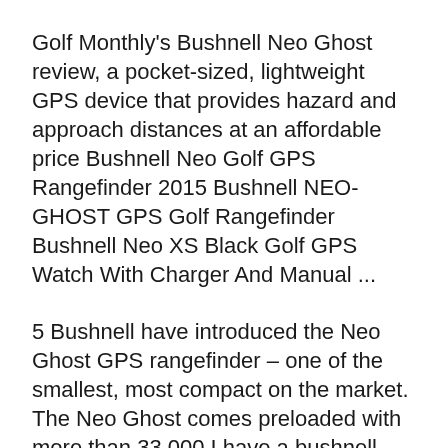Golf Monthly's Bushnell Neo Ghost review, a pocket-sized, lightweight GPS device that provides hazard and approach distances at an affordable price Bushnell Neo Golf GPS Rangefinder 2015 Bushnell NEO-GHOST GPS Golf Rangefinder Bushnell Neo XS Black Golf GPS Watch With Charger And Manual ...
5 Bushnell have introduced the Neo Ghost GPS rangefinder – one of the smallest, most compact on the market. The Neo Ghost comes preloaded with more than 33,000 I have a bushnell neo and the software will not work on windows 7 new Bushnell Golf Neo Xs